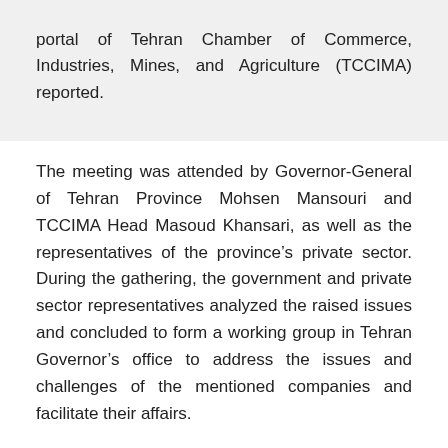portal of Tehran Chamber of Commerce, Industries, Mines, and Agriculture (TCCIMA) reported.
The meeting was attended by Governor-General of Tehran Province Mohsen Mansouri and TCCIMA Head Masoud Khansari, as well as the representatives of the province's private sector. During the gathering, the government and private sector representatives analyzed the raised issues and concluded to form a working group in Tehran Governor's office to address the issues and challenges of the mentioned companies and facilitate their affairs.
Opening the meeting, Khansari referred to the elimination of subsidized foreign currency rates as one of the most important economic measures